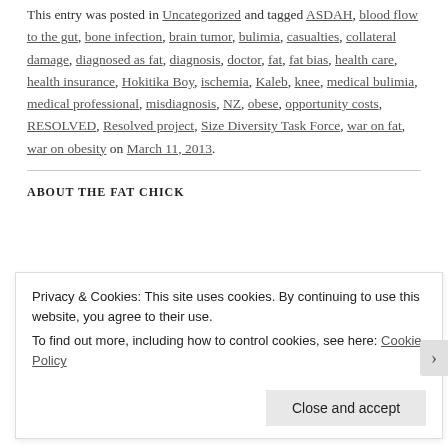This entry was posted in Uncategorized and tagged ASDAH, blood flow to the gut, bone infection, brain tumor, bulimia, casualties, collateral damage, diagnosed as fat, diagnosis, doctor, fat, fat bias, health care, health insurance, Hokitika Boy, ischemia, Kaleb, knee, medical bulimia, medical professional, misdiagnosis, NZ, obese, opportunity costs, RESOLVED, Resolved project, Size Diversity Task Force, war on fat, war on obesity on March 11, 2013.
ABOUT THE FAT CHICK
Privacy & Cookies: This site uses cookies. By continuing to use this website, you agree to their use.
To find out more, including how to control cookies, see here: Cookie Policy